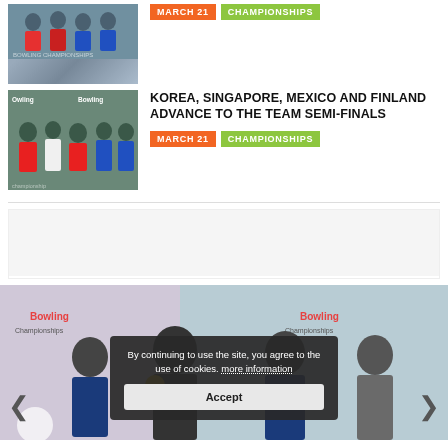[Figure (photo): Team photo thumbnail - bowling team members in uniforms]
MARCH 21  CHAMPIONSHIPS
[Figure (photo): Bowling team photo with Owling/Bowling championship banner]
KOREA, SINGAPORE, MEXICO AND FINLAND ADVANCE TO THE TEAM SEMI-FINALS
MARCH 21  CHAMPIONSHIPS
[Figure (photo): Large photo of bowling champions holding gold medals at 2019 World Junior Bowling Championships backdrop, with cookie consent overlay]
By continuing to use the site, you agree to the use of cookies. more information
Accept